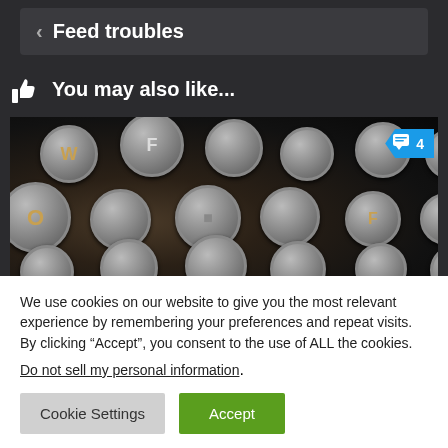Feed troubles
You may also like...
[Figure (photo): Close-up macro photograph of vintage typewriter keys, showing metal circular keys with letters including W, F, O, and others. A blue comment badge with a speech bubble icon and the number 4 is shown in the upper right corner of the image.]
We use cookies on our website to give you the most relevant experience by remembering your preferences and repeat visits. By clicking “Accept”, you consent to the use of ALL the cookies.
Do not sell my personal information.
Cookie Settings   Accept